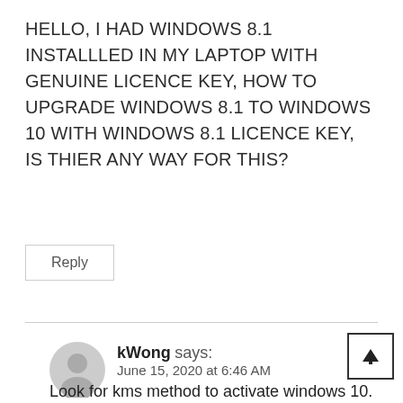HELLO, I HAD WINDOWS 8.1 INSTALLLED IN MY LAPTOP WITH GENUINE LICENCE KEY, HOW TO UPGRADE WINDOWS 8.1 TO WINDOWS 10 WITH WINDOWS 8.1 LICENCE KEY,
IS THIER ANY WAY FOR THIS?
Reply
kWong says:
June 15, 2020 at 6:46 AM
Look for kms method to activate windows 10.